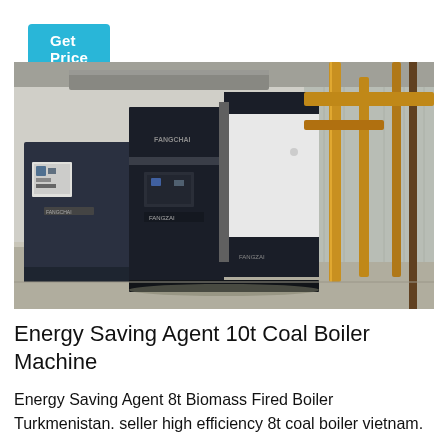Get Price
[Figure (photo): Industrial coal/biomass boiler machine in a factory setting. A large black and white rectangular boiler unit with branding text on it occupies the center-right, with pipes visible on the right and another smaller boiler unit to the left. The floor is concrete and the walls are corrugated metal sheeting.]
Energy Saving Agent 10t Coal Boiler Machine
Energy Saving Agent 8t Biomass Fired Boiler Turkmenistan. seller high efficiency 8t coal boiler vietnam.